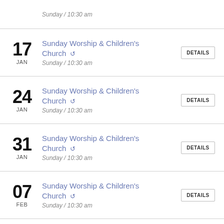Sunday / 10:30 am
17 JAN — Sunday Worship & Children's Church — Sunday / 10:30 am
24 JAN — Sunday Worship & Children's Church — Sunday / 10:30 am
31 JAN — Sunday Worship & Children's Church — Sunday / 10:30 am
07 FEB — Sunday Worship & Children's Church — Sunday / 10:30 am
14 — Sunday Worship & Children's Church